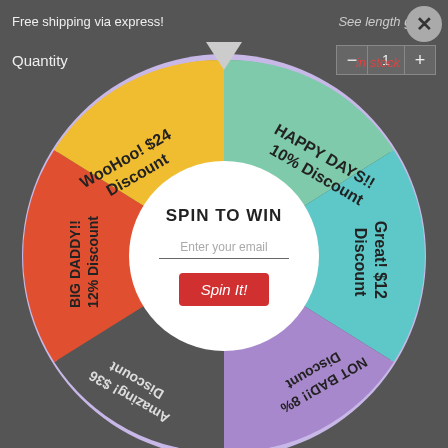Free shipping via express!
See length guide
Quantity
in stock
[Figure (infographic): Spin-to-win prize wheel with 6 colored segments: yellow (WooHoo! $24 Discount), teal/green (HAPPY DAYS!! 10% Discount), cyan/teal (Great! $12 Discount), purple (NOT BAD!! 8% Discount), dark/gray (Amazing! $36 Discount), orange-red (BIG DADDY!! 12% Discount). Center white circle has 'SPIN TO WIN', email input, and 'Spin It!' button.]
SPIN TO WIN
Enter your email
Spin It!